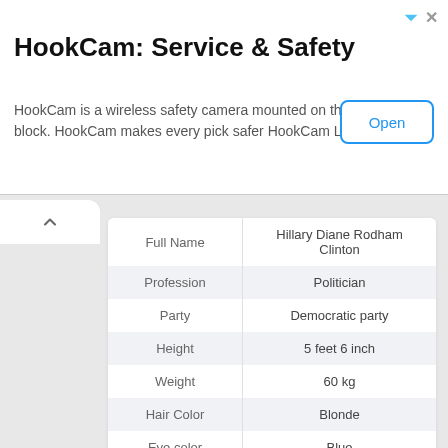[Figure (screenshot): Advertisement banner for HookCam: Service & Safety with Open button]
HookCam: Service & Safety
HookCam is a wireless safety camera mounted on the block. HookCam makes every pick safer HookCam LLC
| Full Name | Hillary Diane Rodham Clinton |
| --- | --- |
| Profession | Politician |
| Party | Democratic party |
| Height | 5 feet 6 inch |
| Weight | 60 kg |
| Hair Color | Blonde |
| Eye color | Blue |
| Date of birth | October 26, 1947 |
| age | 74 |
| Birthplace | Chicago's Edgewater Medical Center |